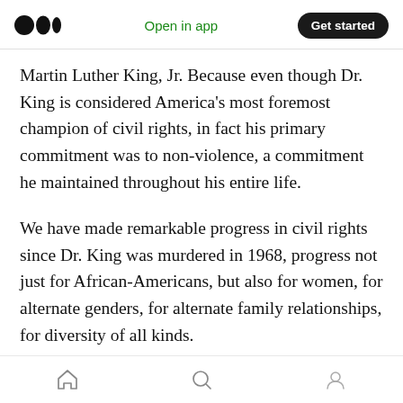Medium logo | Open in app | Get started
Martin Luther King, Jr. Because even though Dr. King is considered America's most foremost champion of civil rights, in fact his primary commitment was to non-violence, a commitment he maintained throughout his entire life.
We have made remarkable progress in civil rights since Dr. King was murdered in 1968, progress not just for African-Americans, but also for women, for alternate genders, for alternate family relationships, for diversity of all kinds.
So, we have come a long way in terms of fulfilling
Home | Search | Profile